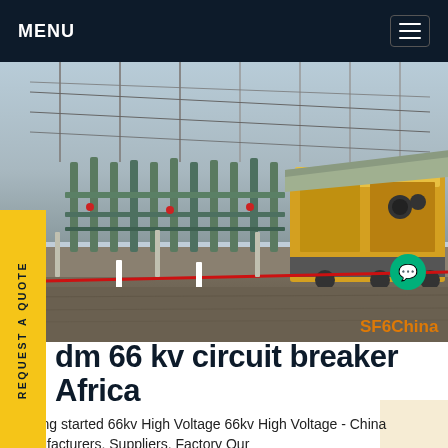MENU
[Figure (photo): Outdoor high-voltage electrical substation with tall ceramic insulators, metal pipe structures, and a yellow mobile equipment unit or container. Red safety tape in the foreground. 'SF6China' text overlay in orange at bottom right.]
dm 66 kv circuit breaker Africa
Getting started 66kv High Voltage 66kv High Voltage - China Manufacturers, Suppliers, Factory Our